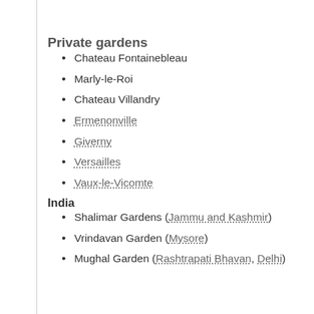Private gardens
Chateau Fontainebleau
Marly-le-Roi
Chateau Villandry
Ermenonville
Giverny
Versailles
Vaux-le-Vicomte
India
Shalimar Gardens (Jammu and Kashmir)
Vrindavan Garden (Mysore)
Mughal Garden (Rashtrapati Bhavan, Delhi)